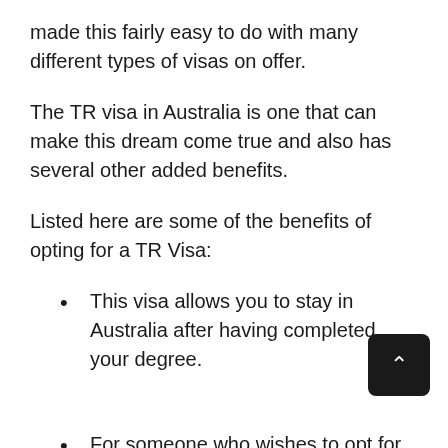made this fairly easy to do with many different types of visas on offer.
The TR visa in Australia is one that can make this dream come true and also has several other added benefits.
Listed here are some of the benefits of opting for a TR Visa:
This visa allows you to stay in Australia after having completed your degree.
For someone who wishes to opt for further stud after having completed their basic education and also live and work in Australia at the same time, this